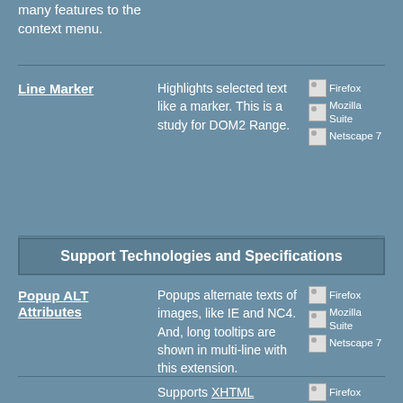many features to the context menu.
Line Marker
Highlights selected text like a marker. This is a study for DOM2 Range.
Firefox Mozilla Suite Netscape 7
Support Technologies and Specifications
Popup ALT Attributes
Popups alternate texts of images, like IE and NC4. And, long tooltips are shown in multi-line with this extension.
Firefox Mozilla Suite Netscape 7
Supports XHTML
Firefox Mozill...